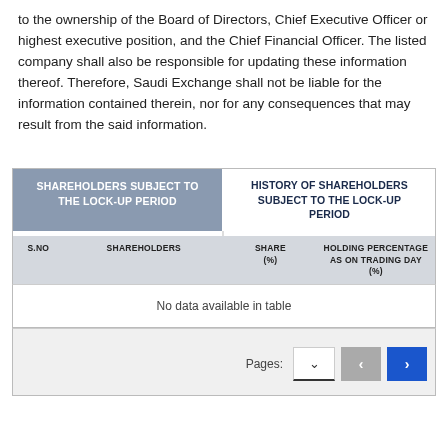to the ownership of the Board of Directors, Chief Executive Officer or highest executive position, and the Chief Financial Officer. The listed company shall also be responsible for updating these information thereof. Therefore, Saudi Exchange shall not be liable for the information contained therein, nor for any consequences that may result from the said information.
| S.NO | SHAREHOLDERS | SHARE (%) | HOLDING PERCENTAGE AS ON TRADING DAY (%) |
| --- | --- | --- | --- |